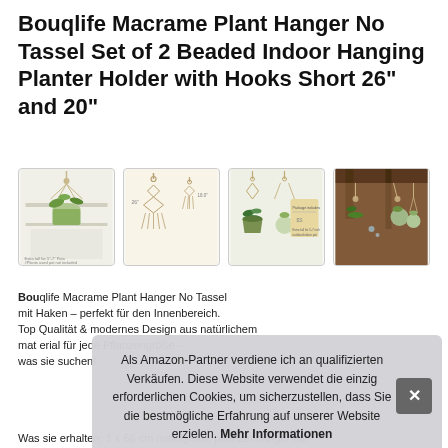Bouqlife Macrame Plant Hanger No Tassel Set of 2 Beaded Indoor Hanging Planter Holder with Hooks Short 26" and 20"
[Figure (photo): Four product thumbnail images of macrame plant hangers: first shows green plant in macrame hanger indoors, second shows two macrame hanger diagrams with measurements (26" and 18"), third shows two hangers with plants and a product card showing '$$ ', fourth shows macrame hangers hanging from wooden beams in a rustic interior.]
Bou... mit ... Top... mat... was...
Als Amazon-Partner verdiene ich an qualifizierten Verkäufen. Diese Website verwendet die einzig erforderlichen Cookies, um sicherzustellen, dass Sie die bestmögliche Erfahrung auf unserer Website erzielen. Mehr Informationen
Was sie erhalten: 1 x 66 cm mittelgroße pflanzenhänger mit...